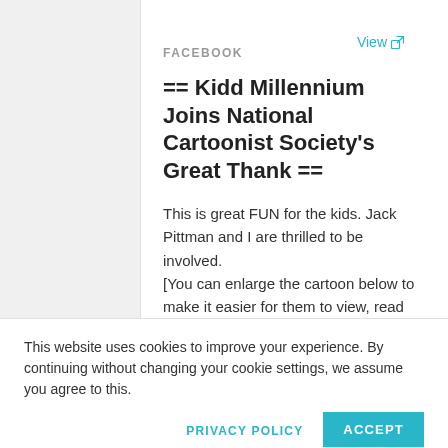View ↗
FACEBOOK
== Kidd Millennium Joins National Cartoonist Society's Great Thank ==
This is great FUN for the kids. Jack Pittman and I are thrilled to be involved.
[You can enlarge the cartoon below to make it easier for them to view, read and complete.]
Kidd Millennium is joining the National Society of Cartoonists' BIG THANK
This website uses cookies to improve your experience. By continuing without changing your cookie settings, we assume you agree to this.
PRIVACY POLICY
ACCEPT